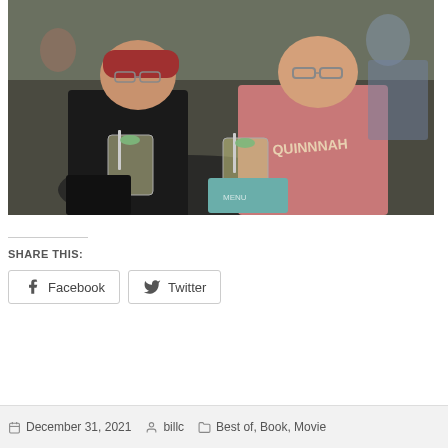[Figure (photo): Two men sitting at an outdoor restaurant table, each holding a cocktail drink with a straw and lime garnish, smiling at the camera. The man on the left wears a black t-shirt and red cap; the man on the right wears a pink t-shirt that reads 'QUINNNAH'.]
SHARE THIS:
Facebook   Twitter
December 31, 2021   billc   Best of, Book, Movie